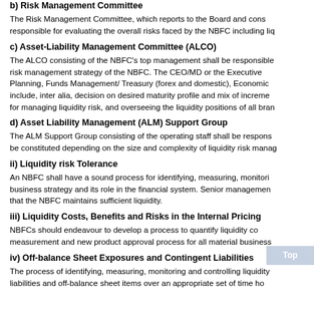b) Risk Management Committee
The Risk Management Committee, which reports to the Board and cons responsible for evaluating the overall risks faced by the NBFC including liq
c) Asset-Liability Management Committee (ALCO)
The ALCO consisting of the NBFC's top management shall be responsible risk management strategy of the NBFC. The CEO/MD or the Executive Planning, Funds Management/ Treasury (forex and domestic), Economic include, inter alia, decision on desired maturity profile and mix of increme for managing liquidity risk, and overseeing the liquidity positions of all bran
d) Asset Liability Management (ALM) Support Group
The ALM Support Group consisting of the operating staff shall be respons be constituted depending on the size and complexity of liquidity risk manag
ii) Liquidity risk Tolerance
An NBFC shall have a sound process for identifying, measuring, monitori business strategy and its role in the financial system. Senior managemen that the NBFC maintains sufficient liquidity.
iii) Liquidity Costs, Benefits and Risks in the Internal Pricing
NBFCs should endeavour to develop a process to quantify liquidity co measurement and new product approval process for all material business
iv) Off-balance Sheet Exposures and Contingent Liabilities
The process of identifying, measuring, monitoring and controlling liquidity liabilities and off-balance sheet items over an appropriate set of time ho